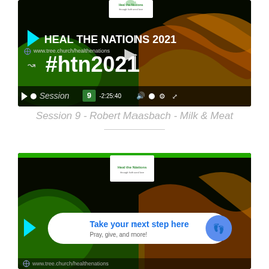[Figure (screenshot): Video thumbnail for Heal the Nations 2021 Session 9, showing a dark background with colorful wave graphics, cyan play arrow, title HEAL THE NATIONS 2021, website URL www.tree.church/healthenations, hashtag #htn2021, and video player controls bar showing Session 9, time -2:25:40]
Session 9 - Robert Maasbach - Milk & Meat
[Figure (screenshot): Second video thumbnail for Heal the Nations with a call-to-action overlay bar saying Take your next step here / Pray, give, and more! with a blue footprint icon button]